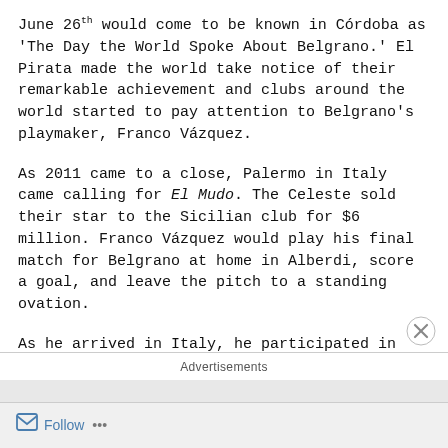June 26th would come to be known in Córdoba as 'The Day the World Spoke About Belgrano.' El Pirata made the world take notice of their remarkable achievement and clubs around the world started to pay attention to Belgrano's playmaker, Franco Vázquez.
As 2011 came to a close, Palermo in Italy came calling for El Mudo. The Celeste sold their star to the Sicilian club for $6 million. Franco Vázquez would play his final match for Belgrano at home in Alberdi, score a goal, and leave the pitch to a standing ovation.
As he arrived in Italy, he participated in the second half of the Serie A season but had little success and was loaned to Spanish side Rayo Vallecano for the following season. When he returned back to Italy, El Mudo began to find more playing time
Advertisements